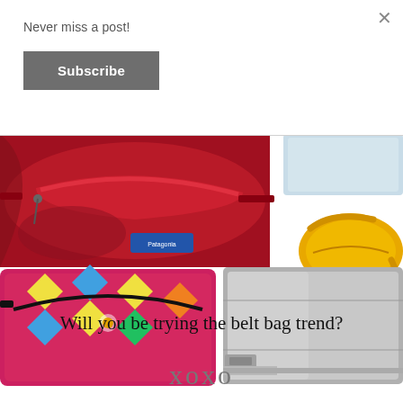Never miss a post!
Subscribe
[Figure (photo): Collage of four belt/fanny pack bags: a large red Patagonia fanny pack (top left), a small clear/translucent bag (top right corner), a yellow oval belt bag (right middle), a colorful patterned Aztec-print fanny pack (bottom left), and a metallic silver rectangular belt bag (bottom right).]
Will you be trying the belt bag trend?
xoxo